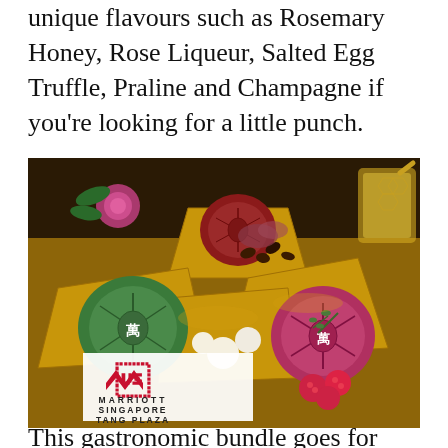unique flavours such as Rosemary Honey, Rose Liqueur, Salted Egg Truffle, Praline and Champagne if you're looking for a little punch.
[Figure (photo): Photo of colorful mooncakes from Marriott Singapore Tang Plaza arranged on golden trays with garnishes including raspberries, herbs, dried rose petals, and honeycomb. A Marriott Singapore Tang Plaza logo appears in the bottom left of the image.]
This gastronomic bundle goes for $50.40 after 30% taken off full price. The offer is valid till 13